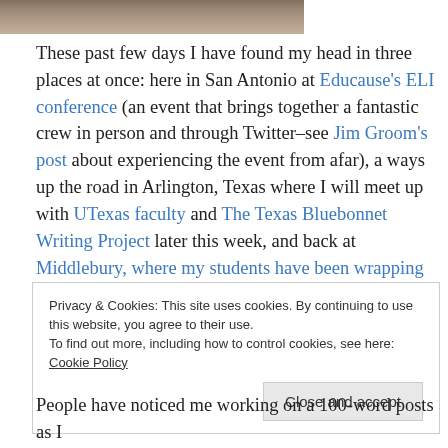[Figure (photo): Partial photo of a person at the top of the page]
These past few days I have found my head in three places at once: here in San Antonio at Educause's ELI conference (an event that brings together a fantastic crew in person and through Twitter–see Jim Groom's post about experiencing the event from afar), a ways up the road in Arlington, Texas where I will meet up with UTexas faculty and The Texas Bluebonnet Writing Project later this week, and back at Middlebury, where my students have been wrapping up J-term with me away, participating virtually
Privacy & Cookies: This site uses cookies. By continuing to use this website, you agree to their use.
To find out more, including how to control cookies, see here: Cookie Policy
[Close and accept]
People have noticed me working on a 100-word posts as I